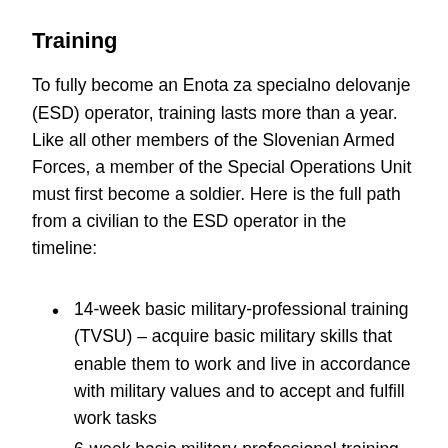Training
To fully become an Enota za specialno delovanje (ESD) operator, training lasts more than a year. Like all other members of the Slovenian Armed Forces, a member of the Special Operations Unit must first become a soldier. Here is the full path from a civilian to the ESD operator in the timeline:
14-week basic military-professional training (TVSU) – acquire basic military skills that enable them to work and live in accordance with military values and to accept and fulfill work tasks
6-week basic military-professional training (OVSU) – acquire knowledge for military record